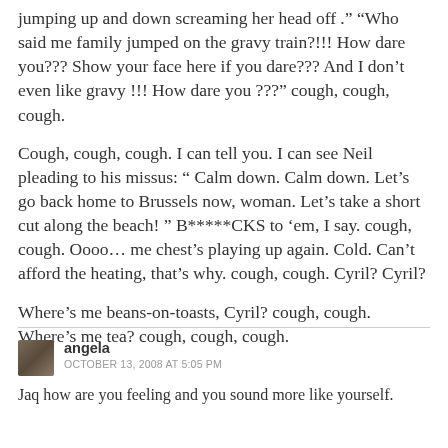jumping up and down screaming her head off .” “Who said me family jumped on the gravy train?!!! How dare you??? Show your face here if you dare??? And I don’t even like gravy !!! How dare you ???” cough, cough, cough.

Cough, cough, cough. I can tell you. I can see Neil pleading to his missus: “ Calm down. Calm down. Let’s go back home to Brussels now, woman. Let’s take a short cut along the beach! ” B*****CKS to ‘em, I say. cough, cough. Oooo… me chest’s playing up again. Cold. Can’t afford the heating, that’s why. cough, cough. Cyril? Cyril?

Where’s me beans-on-toasts, Cyril? cough, cough. Where’s me tea? cough, cough, cough.
angela
OCTOBER 13, 2008 AT 5:05 PM
Jaq how are you feeling and you sound more like yourself.